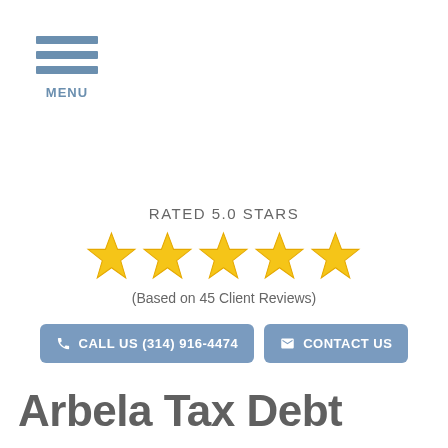[Figure (other): Hamburger menu icon with three horizontal blue bars and MENU label]
RATED 5.0 STARS
[Figure (other): Five gold stars rating graphic]
(Based on 45 Client Reviews)
CALL US (314) 916-4474
CONTACT US
Arbela Tax Debt